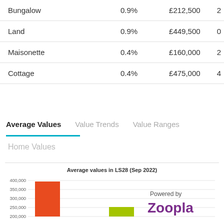|  |  |  |  |
| --- | --- | --- | --- |
| Bungalow | 0.9% | £212,500 | 2 |
| Land | 0.9% | £449,500 | 0 |
| Maisonette | 0.4% | £160,000 | 2 |
| Cottage | 0.4% | £475,000 | 4 |
Average Values | Value Trends | Value Ranges
Home Values
[Figure (bar-chart): Average values in LS28 (Sep 2022)]
Powered by Zoopla